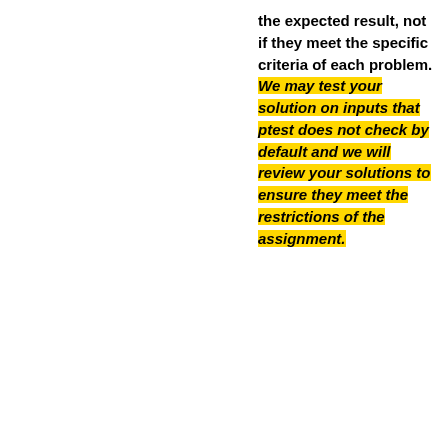the expected result, not if they meet the specific criteria of each problem. We may test your solution on inputs that ptest does not check by default and we will review your solutions to ensure they meet the restrictions of the assignment.